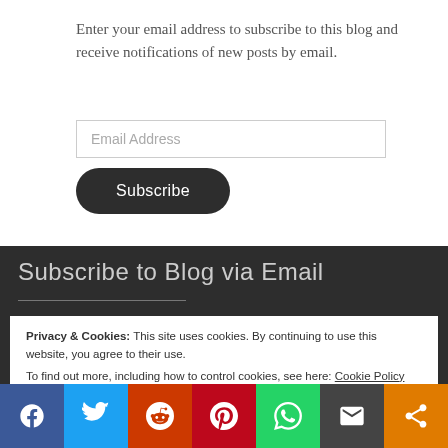Enter your email address to subscribe to this blog and receive notifications of new posts by email.
[Figure (other): Email address input field with placeholder text 'Email Address']
[Figure (other): Dark rounded Subscribe button]
Subscribe to Blog via Email
Privacy & Cookies: This site uses cookies. By continuing to use this website, you agree to their use. To find out more, including how to control cookies, see here: Cookie Policy
[Figure (other): Close and accept button]
[Figure (other): Social sharing bar with icons: Facebook, Twitter, Reddit, Pinterest, WhatsApp, Email, Share]